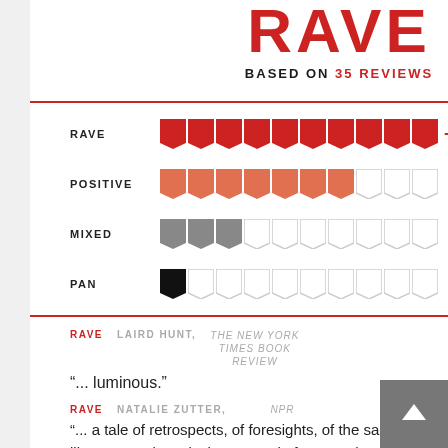RAVE
BASED ON 35 REVIEWS
[Figure (infographic): Rating breakdown showing four categories: RAVE (10+ filled red flags), POSITIVE (7 filled orange flags, 3 empty), MIXED (3 filled gray flags, 7 empty), PAN (1 filled black flag, 9 empty)]
RAVE   LAIRD HUNT,   THE NEW YORK TIMES BOOK REVIEW
"... luminous."
RAVE   NATALIE ZUTTER,   NPR
"... a tale of retrospects, of foresights, of the same moment layered on top of itself like repeated musical notes and of quotes that echo across time. Unlike Station Eleven, this book could not have